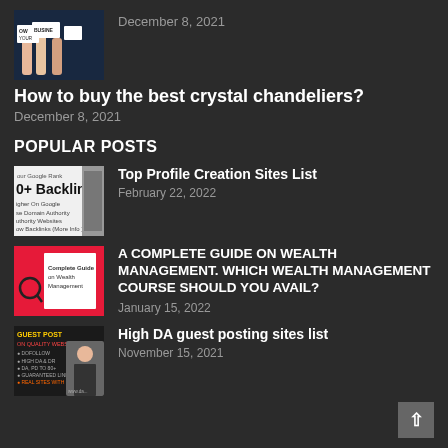[Figure (photo): Hands holding signs 'GROW YOUR BUSINESS']
December 8, 2021
How to buy the best crystal chandeliers?
December 8, 2021
POPULAR POSTS
[Figure (photo): Backlinks thumbnail showing 10+ Backlinks text]
Top Profile Creation Sites List
February 22, 2022
[Figure (photo): Complete Guide on Wealth Management thumbnail with red background]
A COMPLETE GUIDE ON WEALTH MANAGEMENT. WHICH WEALTH MANAGEMENT COURSE SHOULD YOU AVAIL?
January 15, 2022
[Figure (photo): Guest Post thumbnail with person image]
High DA guest posting sites list
November 15, 2021